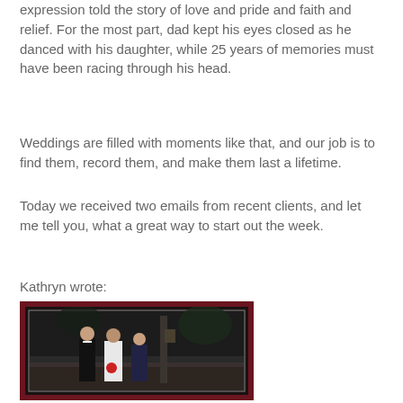expression told the story of love and pride and faith and relief. For the most part, dad kept his eyes closed as he danced with his daughter, while 25 years of memories must have been racing through his head.
Weddings are filled with moments like that, and our job is to find them, record them, and make them last a lifetime.
Today we received two emails from recent clients, and let me tell you, what a great way to start out the week.
Kathryn wrote:
[Figure (photo): Wedding photo showing a man in a tuxedo and two women (bride in white and bridesmaid in dark dress) on outdoor steps, framed in dark red album border]